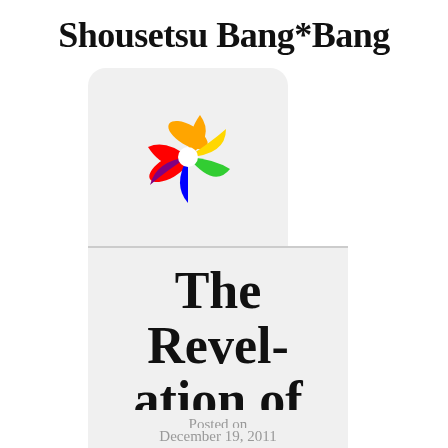Shousetsu Bang*Bang
[Figure (logo): Colorful flower/pinwheel logo with petals in red, orange, yellow, green, blue, purple on a light gray rounded rectangle background]
The Revelation of Orev
Posted on
December 19, 2011